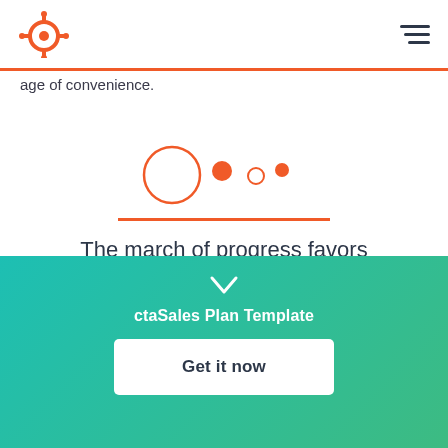[Figure (logo): HubSpot sprocket logo in orange]
age of convenience.
[Figure (illustration): Decorative circles in orange, varying sizes, arranged horizontally]
The march of progress favors convenience.
ctaSales Plan Template
Get it now